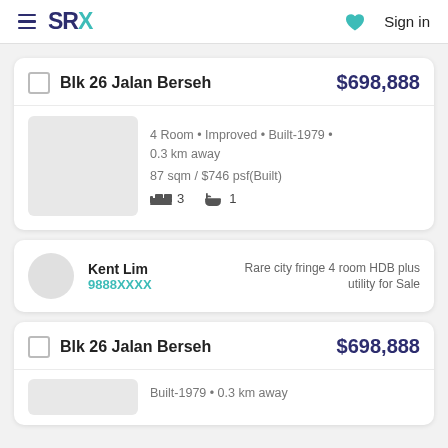SRX Sign in
Blk 26 Jalan Berseh $698,888
4 Room • Improved • Built-1979 • 0.3 km away
87 sqm / $746 psf(Built)
3 bedrooms 1 bathroom
Kent Lim 9888XXXX — Rare city fringe 4 room HDB plus utility for Sale
Blk 26 Jalan Berseh $698,888
Built-1979 • 0.3 km away